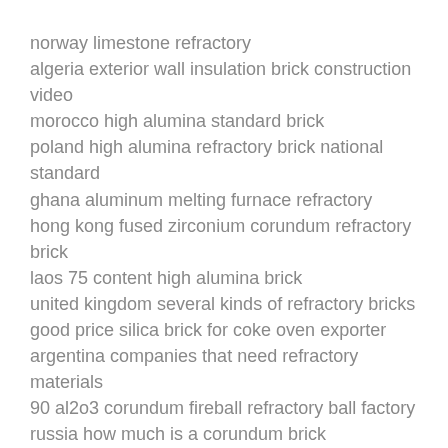norway limestone refractory
algeria exterior wall insulation brick construction video
morocco high alumina standard brick
poland high alumina refractory brick national standard
ghana aluminum melting furnace refractory
hong kong fused zirconium corundum refractory brick
laos 75 content high alumina brick
united kingdom several kinds of refractory bricks
good price silica brick for coke oven exporter
argentina companies that need refractory materials
90 al2o3 corundum fireball refractory ball factory
russia how much is a corundum brick
belgium firebrick for chimney
good price mullite cordierite brick supplier
iraq high alumina brick manufacturer
norway high temperature refractory brick
brazil magnesia brick applied to paving blocks
kazakhstan high alumina thermal insulation brick
best selling fused cast azs tyazs36d used to build